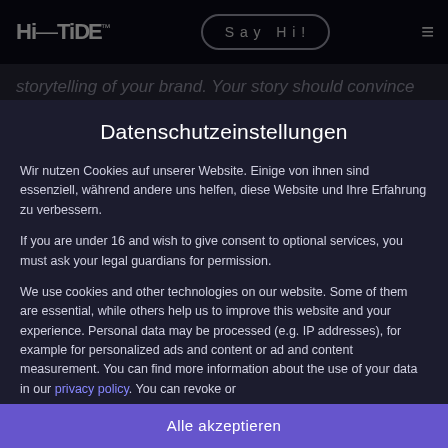Hi-TiDE™  Say Hi!  ☰
storytelling of your brand. Your story should convince
Datenschutzeinstellungen
Wir nutzen Cookies auf unserer Website. Einige von ihnen sind essenziell, während andere uns helfen, diese Website und Ihre Erfahrung zu verbessern.
If you are under 16 and wish to give consent to optional services, you must ask your legal guardians for permission.
We use cookies and other technologies on our website. Some of them are essential, while others help us to improve this website and your experience. Personal data may be processed (e.g. IP addresses), for example for personalized ads and content or ad and content measurement. You can find more information about the use of your data in our privacy policy. You can revoke or
✓ Essenziell
□ Externe Medien
Alle akzeptieren